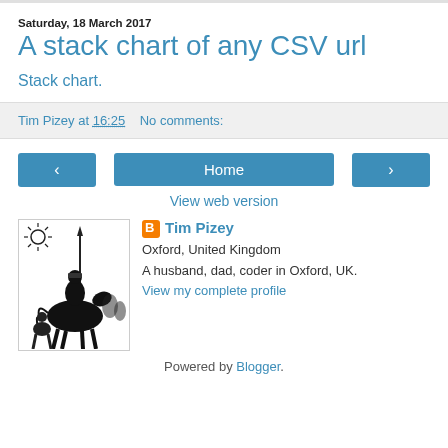Saturday, 18 March 2017
A stack chart of any CSV url
Stack chart.
Tim Pizey at 16:25   No comments:
‹  Home  ›
View web version
[Figure (photo): Black and white illustration of a knight on horseback with a lance, resembling Don Quixote]
Tim Pizey
Oxford, United Kingdom
A husband, dad, coder in Oxford, UK.
View my complete profile
Powered by Blogger.